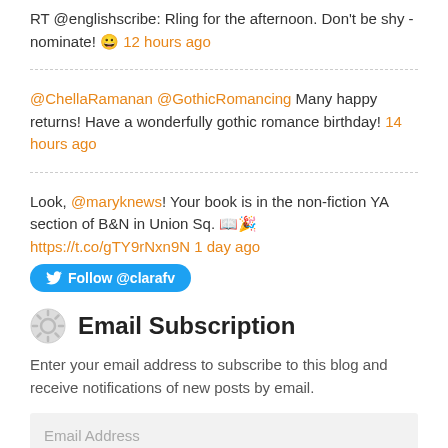RT @englishscribe: Rling for the afternoon. Don't be shy - nominate! 😀 12 hours ago
@ChellaRamanan @GothicRomancing Many happy returns! Have a wonderfully gothic romance birthday! 14 hours ago
Look, @maryknews! Your book is in the non-fiction YA section of B&N in Union Sq. 📖🎉 https://t.co/gTY9rNxn9N 1 day ago
Follow @clarafv
Email Subscription
Enter your email address to subscribe to this blog and receive notifications of new posts by email.
Email Address
SIGN ME UP!